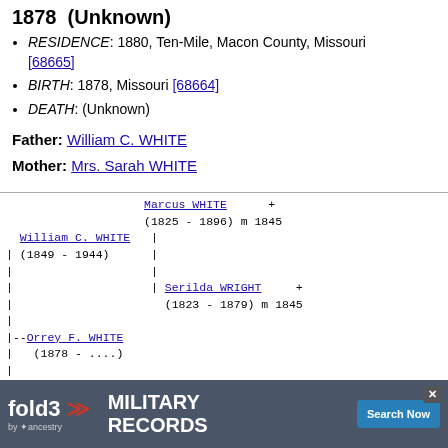1878 (Unknown)
RESIDENCE: 1880, Ten-Mile, Macon County, Missouri [68665]
BIRTH: 1878, Missouri [68664]
DEATH: (Unknown)
Father: William C. WHITE
Mother: Mrs. Sarah WHITE
[Figure (other): Genealogy tree diagram showing Orrey F. WHITE (1878 - ....) with parents William C. WHITE (1849-1944) and Mrs. Sarah WHITE (1850-1928), and paternal grandparents Marcus WHITE (1825-1896) m 1845 and Serilda WRIGHT (1823-1879) m 1845]
[Figure (other): fold3 by Ancestry advertisement banner for Military Records with Search Now button]